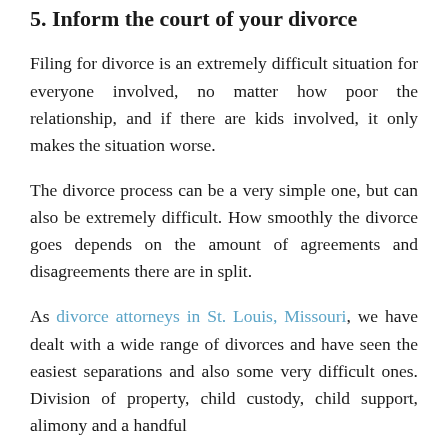5. Inform the court of your divorce
Filing for divorce is an extremely difficult situation for everyone involved, no matter how poor the relationship, and if there are kids involved, it only makes the situation worse.
The divorce process can be a very simple one, but can also be extremely difficult. How smoothly the divorce goes depends on the amount of agreements and disagreements there are in split.
As divorce attorneys in St. Louis, Missouri, we have dealt with a wide range of divorces and have seen the easiest separations and also some very difficult ones. Division of property, child custody, child support, alimony and a handful